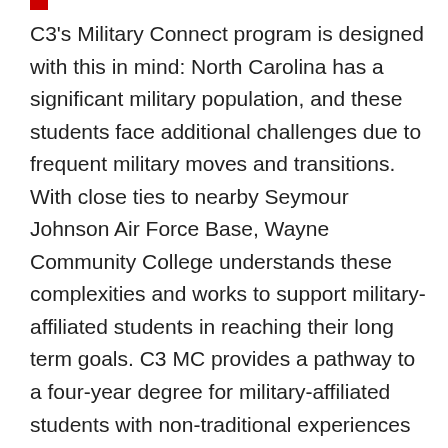C3's Military Connect program is designed with this in mind: North Carolina has a significant military population, and these students face additional challenges due to frequent military moves and transitions. With close ties to nearby Seymour Johnson Air Force Base, Wayne Community College understands these complexities and works to support military-affiliated students in reaching their long term goals. C3 MC provides a pathway to a four-year degree for military-affiliated students with non-traditional experiences who demonstrate potential for academic success. The program supports student success by building an extended academic, professional, and personal support network; in doing so, C3 Military Connect gives students the tools to